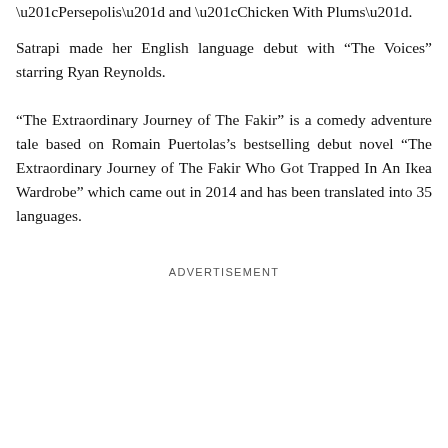“Persepolis” and “Chicken With Plums”.
Satrapi made her English language debut with “The Voices” starring Ryan Reynolds.
“The Extraordinary Journey of The Fakir” is a comedy adventure tale based on Romain Puertolas’s bestselling debut novel “The Extraordinary Journey of The Fakir Who Got Trapped In An Ikea Wardrobe” which came out in 2014 and has been translated into 35 languages.
ADVERTISEMENT